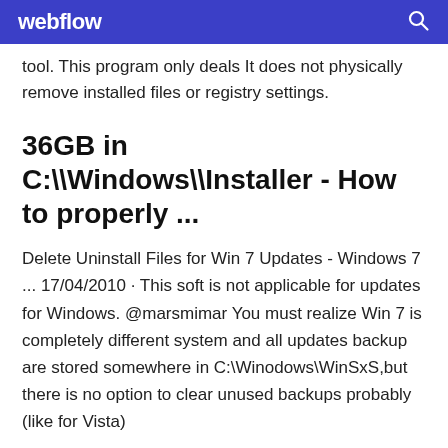webflow
tool. This program only deals It does not physically remove installed files or registry settings.
36GB in C:\\Windows\\Installer - How to properly ...
Delete Uninstall Files for Win 7 Updates - Windows 7 ... 17/04/2010 · This soft is not applicable for updates for Windows. @marsmimar You must realize Win 7 is completely different system and all updates backup are stored somewhere in C:\Winodows\WinSxS,but there is no option to clear unused backups probably (like for Vista)